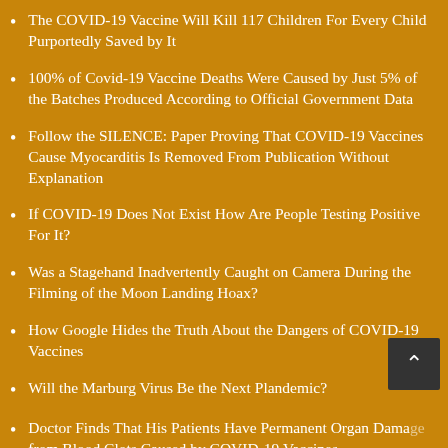The COVID-19 Vaccine Will Kill 117 Children For Every Child Purportedly Saved by It
100% of Covid-19 Vaccine Deaths Were Caused by Just 5% of the Batches Produced According to Official Government Data
Follow the SILENCE: Paper Proving That COVID-19 Vaccines Cause Myocarditis Is Removed From Publication Without Explanation
If COVID-19 Does Not Exist How Are People Testing Positive For It?
Was a Stagehand Inadvertently Caught on Camera During the Filming of the Moon Landing Hoax?
How Google Hides the Truth About the Dangers of COVID-19 Vaccines
Will the Marburg Virus Be the Next Plandemic?
Doctor Finds That His Patients Have Permanent Organ Damage from Blood Clots Caused by COVID-19 Vaccines
UK Government Reports Covid-19 Infection Rate Is Higher for Vaccinated than it Is for Unvaccinated